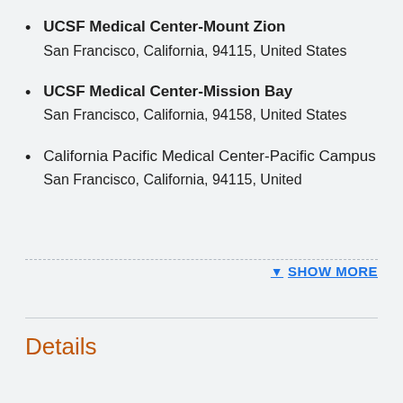UCSF Medical Center-Mount Zion
San Francisco, California, 94115, United States
UCSF Medical Center-Mission Bay
San Francisco, California, 94158, United States
California Pacific Medical Center-Pacific Campus
San Francisco, California, 94115, United
▼ SHOW MORE
Details